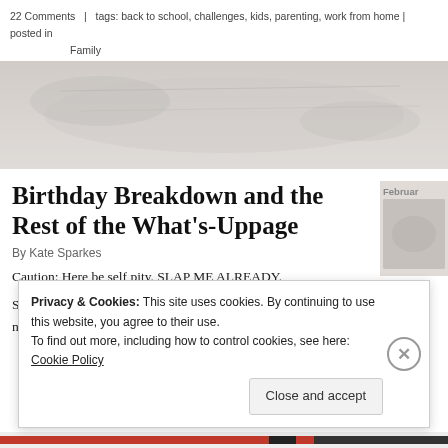22 Comments   |  tags: back to school, challenges, kids, parenting, work from home | posted in Family
[Figure (photo): Faded grayscale hero image, appears to be a landscape or abstract texture]
Birthday Breakdown and the Rest of the What's-Uppage
By Kate Sparkes
Caution: Here be self pity. SLAP ME ALREADY.
Some of you may have noticed that I've been sort of kind of a little bit not here much lately.
Privacy & Cookies: This site uses cookies. By continuing to use this website, you agree to their use. To find out more, including how to control cookies, see here: Cookie Policy
Close and accept